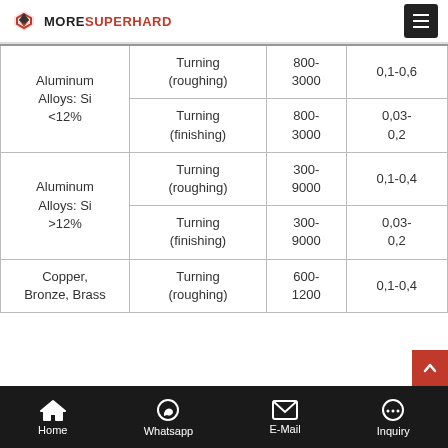MoreSuperHard
| Material | Operation | Speed (m/min) | Feed (mm/rev) |
| --- | --- | --- | --- |
| Aluminum Alloys: Si <12% | Turning (roughing) | 800-3000 | 0,1-0,6 |
| Aluminum Alloys: Si <12% | Turning (finishing) | 800-3000 | 0,03-0,2 |
| Aluminum Alloys: Si >12% | Turning (roughing) | 300-9000 | 0,1-0,4 |
| Aluminum Alloys: Si >12% | Turning (finishing) | 300-9000 | 0,03-0,2 |
| Copper, Bronze, Brass | Turning (roughing) | 600-1200 | 0,1-0,4 |
Home | Whatsapp | E-Mail | Inquiry